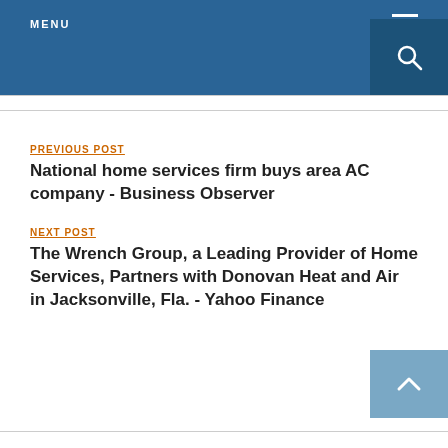MENU
PREVIOUS POST
National home services firm buys area AC company - Business Observer
NEXT POST
The Wrench Group, a Leading Provider of Home Services, Partners with Donovan Heat and Air in Jacksonville, Fla. - Yahoo Finance